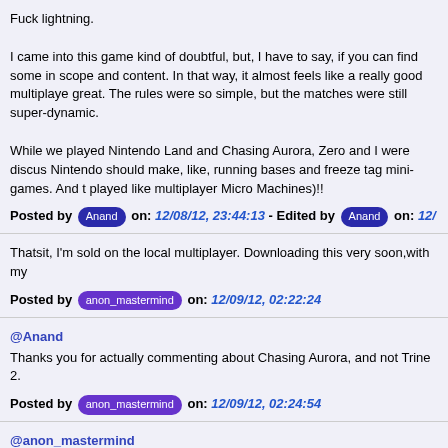Fuck lightning.

I came into this game kind of doubtful, but, I have to say, if you can find some in scope and content. In that way, it almost feels like a really good multiplayer great. The rules were so simple, but the matches were still super-dynamic.
While we played Nintendo Land and Chasing Aurora, Zero and I were discus Nintendo should make, like, running bases and freeze tag mini-games. And t played like multiplayer Micro Machines)!!
Posted by Anand on: 12/08/12, 23:44:13 - Edited by Anand on: 12/
Thatsit, I'm sold on the local multiplayer. Downloading this very soon,with my
Posted by anon_mastermind on: 12/09/12, 02:22:24
@Anand
Thanks you for actually commenting about Chasing Aurora, and not Trine 2.
Posted by anon_mastermind on: 12/09/12, 02:24:54
@anon_mastermind
Cool, post impressions after you try the multi (and try to play with three or more peo light is inspired by the kind of thi...